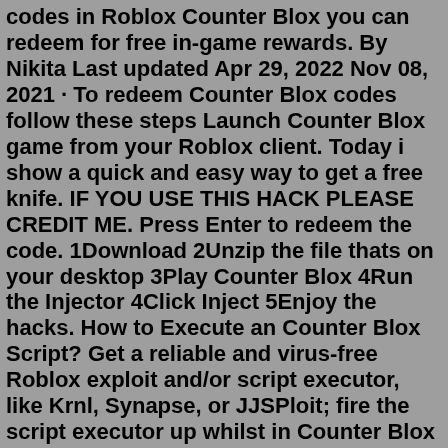codes in Roblox Counter Blox you can redeem for free in-game rewards. By Nikita Last updated Apr 29, 2022 Nov 08, 2021 · To redeem Counter Blox codes follow these steps Launch Counter Blox game from your Roblox client. Today i show a quick and easy way to get a free knife. IF YOU USE THIS HACK PLEASE CREDIT ME. Press Enter to redeem the code. 1Download 2Unzip the file thats on your desktop 3Play Counter Blox 4Run the Injector 4Click Inject 5Enjoy the hacks. How to Execute an Counter Blox Script? Get a reliable and virus-free Roblox exploit and/or script executor, like Krnl, Synapse, or JJSPloit; fire the script executor up whilst in Counter Blox world, then copy and paste any of the scripts we are going to provide you into the provided box and hit the Execute/Inject buttonScript: https://pastebin.com/raw/BWBYriLvCredits to creators^Make sure to like and subscribe for more!CHECK IF EXECUTORS ARE DOWN (NEW FORUM): https://byps.c...Feb 05, 2022 · Counter Blox Roblox Offensive Hack Script Aimbot Anti Ban